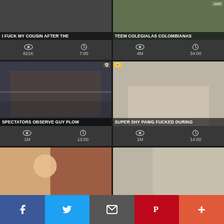[Figure (screenshot): Video thumbnail grid showing adult video website with 6 video cards in 2 columns, with titles, view counts, and durations, plus social sharing bar at bottom]
I FUCK MY COUSIN AFTER THE
821K views | 7:00 duration
TEEM COLEGIALAS COLOMBIANAS
4M views | 34:00 duration
SPECTATORS OBSERVE GUY PLOW
1M views | 13:00 duration
SUPER SHY PAWG FUCKED DURING
1M views | 14:00 duration